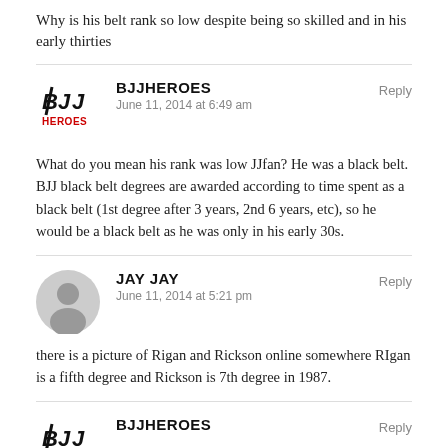Why is his belt rank so low despite being so skilled and in his early thirties
BJJHEROES
June 11, 2014 at 6:49 am
Reply
What do you mean his rank was low JJfan? He was a black belt. BJJ black belt degrees are awarded according to time spent as a black belt (1st degree after 3 years, 2nd 6 years, etc), so he would be a black belt as he was only in his early 30s.
JAY JAY
June 11, 2014 at 5:21 pm
Reply
there is a picture of Rigan and Rickson online somewhere RIgan is a fifth degree and Rickson is 7th degree in 1987.
BJJHEROES
Reply